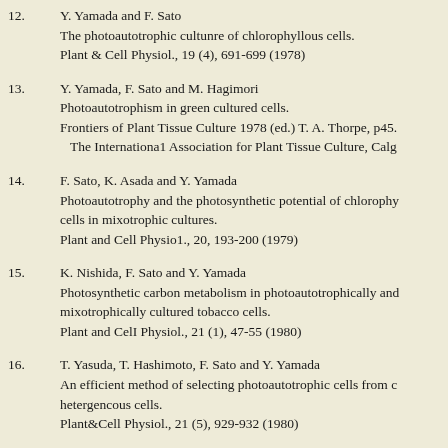12. Y. Yamada and F. Sato
The photoautotrophic cultunre of chlorophyllous cells.
Plant & Cell Physiol., 19 (4), 691-699 (1978)
13. Y. Yamada, F. Sato and M. Hagimori
Photoautotrophism in green cultured cells.
Frontiers of Plant Tissue Culture 1978 (ed.) T. A. Thorpe, p45.
The International Association for Plant Tissue Culture, Calg
14. F. Sato, K. Asada and Y. Yamada
Photoautotrophy and the photosynthetic potential of chlorophy cells in mixotrophic cultures.
Plant and Cell Physiol., 20, 193-200 (1979)
15. K. Nishida, F. Sato and Y. Yamada
Photosynthetic carbon metabolism in photoautotrophically and mixotrophically cultured tobacco cells.
Plant and CelI Physiol., 21 (1), 47-55 (1980)
16. T. Yasuda, T. Hashimoto, F. Sato and Y. Yamada
An efficient method of selecting photoautotrophic cells from c hetergencous cells.
Plant&Cell Physiol., 21 (5), 929-932 (1980)
17. F. Sato, K. Nishida and Y. Yamada
Activities of carboxylation enzymes and productions of CO2 f